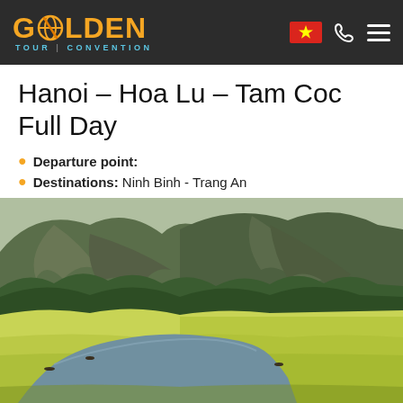Golden Tour Convention — header navigation bar
Hanoi – Hoa Lu – Tam Coc Full Day
Departure point:
Destinations: Ninh Binh - Trang An
[Figure (photo): Scenic landscape photo of Tam Coc / Ninh Binh area: a winding river running through bright green-yellow rice paddies with large limestone karst mountains covered in green foliage in the background. Small boats are visible on the river.]